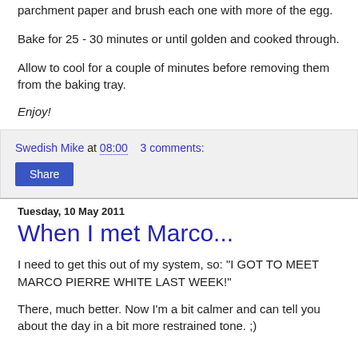parchment paper and brush each one with more of the egg.
Bake for 25 - 30 minutes or until golden and cooked through.
Allow to cool for a couple of minutes before removing them from the baking tray.
Enjoy!
Swedish Mike at 08:00   3 comments:
Share
Tuesday, 10 May 2011
When I met Marco...
I need to get this out of my system, so: "I GOT TO MEET MARCO PIERRE WHITE LAST WEEK!"
There, much better. Now I'm a bit calmer and can tell you about the day in a bit more restrained tone. ;)